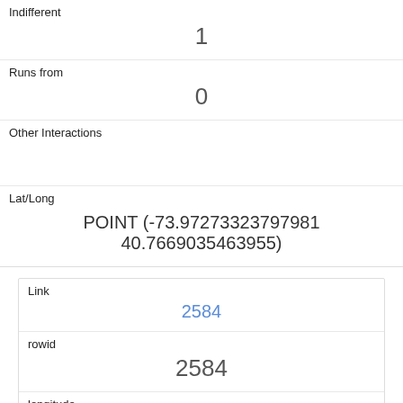| Indifferent | 1 |
| Runs from | 0 |
| Other Interactions |  |
| Lat/Long | POINT (-73.97273323797981 40.7669035463955) |
| Link | 2584 |
| rowid | 2584 |
| longitude | -73.9727187453699 |
| latitude | 40.7669595710626 |
| Unique Squirrel ID | 3H-AM-1008-02 |
| Hectare | 03H |